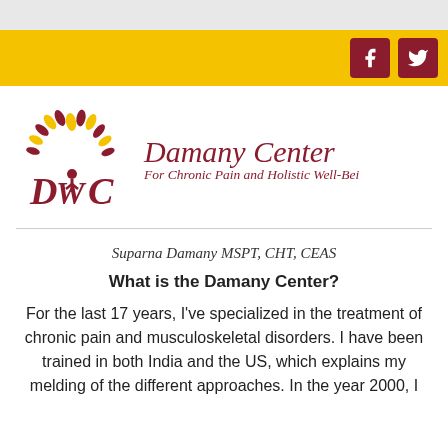[Figure (logo): Damany Center logo with stylized tree made of gold and dark red leaf/petal shapes above 'DWC' letters in dark red, alongside italic serif text 'Damany Center' and tagline 'For Chronic Pain and Holistic Well-Being']
Suparna Damany MSPT, CHT, CEAS
What is the Damany Center?
For the last 17 years, I've specialized in the treatment of chronic pain and musculoskeletal disorders. I have been trained in both India and the US, which explains my melding of the different approaches. In the year 2000, I